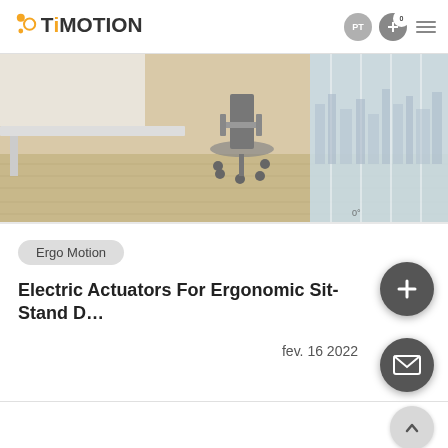TiMotion — PT | navigation bar with logo, PT button, cart (0), menu
[Figure (photo): Office room with a sit-stand desk, ergonomic chair on wooden floor, large windows with city skyline view]
Ergo Motion
Electric Actuators For Ergonomic Sit-Stand D…
fev. 16 2022